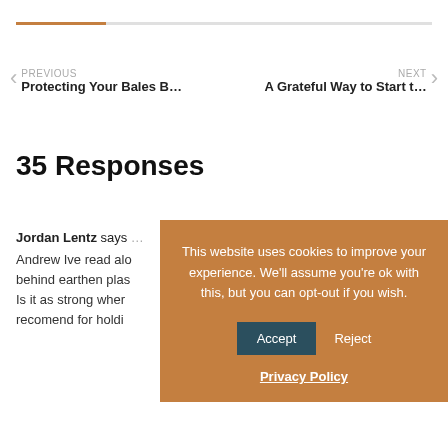PREVIOUS
Protecting Your Bales B…
NEXT
A Grateful Way to Start t…
35 Responses
Jordan Lentz says
Andrew Ive read alo… behind earthen plas… Is it as strong wher… recomend for holdi…
This website uses cookies to improve your experience. We'll assume you're ok with this, but you can opt-out if you wish.
Accept | Reject
Privacy Policy